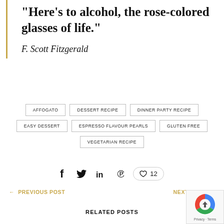“Here’s to alcohol, the rose-colored glasses of life.”
F. Scott Fitzgerald
AFFOGATO
DESSERT RECIPE
DINNER PARTY RECIPE
EASY DESSERT
ESPRESSO FLAVOUR PEARLS
GLUTEN FREE
VEGETARIAN RECIPE
12
← PREVIOUS POST
NEXT POST →
RELATED POSTS